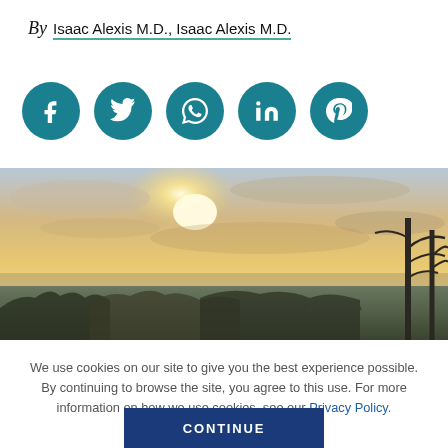By  Isaac Alexis M.D., Isaac Alexis M.D.
[Figure (illustration): Five teal social media icon circles: Facebook, Twitter, WhatsApp, LinkedIn, Pinterest]
[Figure (photo): Landscape photo of a sunset or sunrise with warm orange and golden sky, clouds, bare trees silhouetted on the right, and low vegetation in the foreground]
We use cookies on our site to give you the best experience possible. By continuing to browse the site, you agree to this use. For more information on how we use cookies, see our Privacy Policy.
CONTINUE